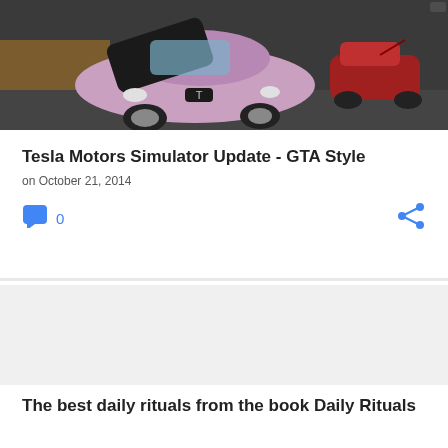[Figure (screenshot): Screenshot of a pink Tesla Model S car with the hood open in a GTA-style video game environment. A red car is visible in the background on a dark road.]
Tesla Motors Simulator Update - GTA Style
on October 21, 2014
0
[Figure (screenshot): White/blank area representing an image placeholder for the next article.]
The best daily rituals from the book Daily Rituals